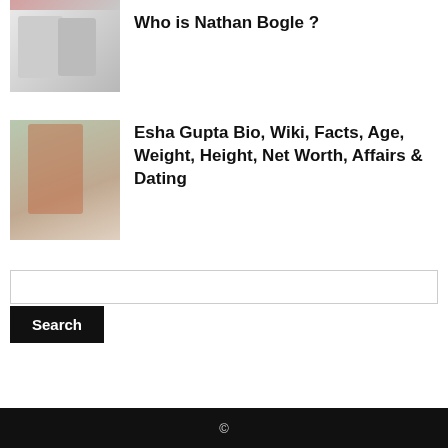[Figure (photo): Partial photo cropped at top, showing a person]
[Figure (photo): Black and white photo showing a person looking in a mirror]
Who is Nathan Bogle ?
[Figure (photo): Photo of Esha Gupta, a woman wearing red dress and sunglasses]
Esha Gupta Bio, Wiki, Facts, Age, Weight, Height, Net Worth, Affairs & Dating
Search
©